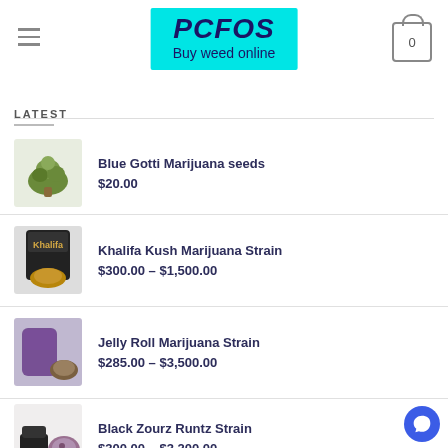PCFOS Buy weed online
LATEST
[Figure (photo): Product image: Blue Gotti marijuana plant buds]
Blue Gotti Marijuana seeds
$20.00
[Figure (photo): Product image: Khalifa Kush jar container]
Khalifa Kush Marijuana Strain
$300.00 – $1,500.00
[Figure (photo): Product image: Jelly Roll marijuana strain in purple packaging with bud]
Jelly Roll Marijuana Strain
$285.00 – $3,500.00
[Figure (photo): Product image: Black Zourz Runtz strain bud with jar]
Black Zourz Runtz Strain
$300.00 – $3,200.00